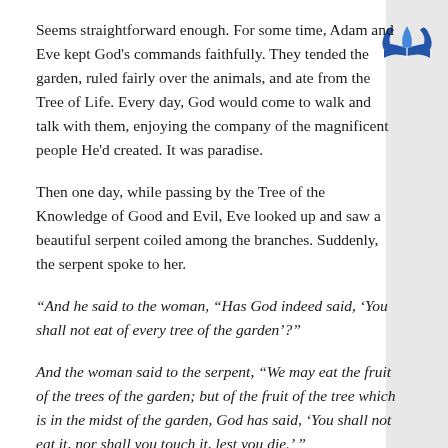[Figure (logo): Seventh-day Adventist Church logo: blue stylized open book or flame with wings]
Seems straightforward enough. For some time, Adam and Eve kept God's commands faithfully. They tended the garden, ruled fairly over the animals, and ate from the Tree of Life. Every day, God would come to walk and talk with them, enjoying the company of the magnificent people He'd created. It was paradise.
Then one day, while passing by the Tree of the Knowledge of Good and Evil, Eve looked up and saw a beautiful serpent coiled among the branches. Suddenly, the serpent spoke to her.
“And he said to the woman, “Has God indeed said, ‘You shall not eat of every tree of the garden’?”
And the woman said to the serpent, “We may eat the fruit of the trees of the garden; but of the fruit of the tree which is in the midst of the garden, God has said, ‘You shall not eat it, nor shall you touch it, lest you die.’ ”
Then the serpent said to the woman, “You will not surely